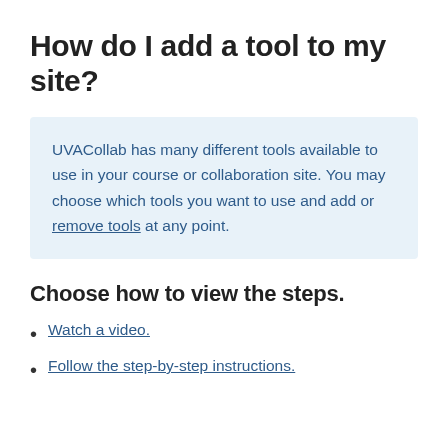How do I add a tool to my site?
UVACollab has many different tools available to use in your course or collaboration site. You may choose which tools you want to use and add or remove tools at any point.
Choose how to view the steps.
Watch a video.
Follow the step-by-step instructions.